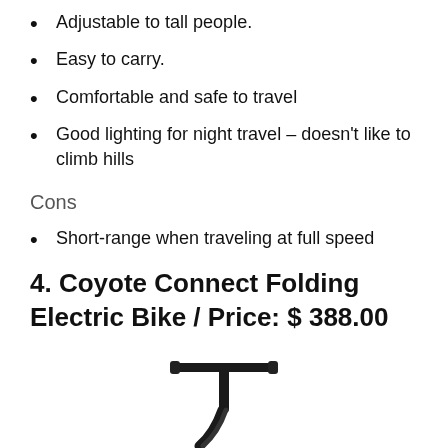Adjustable to tall people.
Easy to carry.
Comfortable and safe to travel
Good lighting for night travel – doesn't like to climb hills
Cons
Short-range when traveling at full speed
4. Coyote Connect Folding Electric Bike / Price: $ 388.00
[Figure (photo): Partial image of a Coyote Connect Folding Electric Bike, showing the handlebar and front frame area in black.]